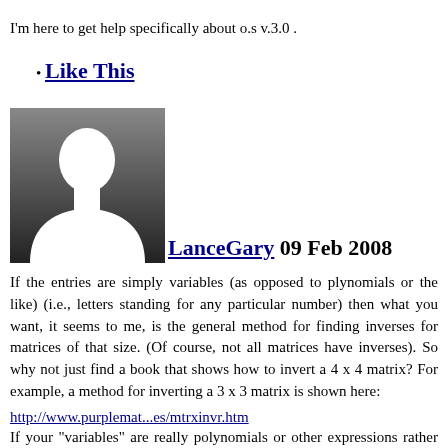I'm here to get help specifically about o.s v.3.0 .
Like This
[Figure (photo): Default avatar silhouette — a grey gradient square with a white person silhouette in the center]
LanceGary 09 Feb 2008
If the entries are simply variables (as opposed to plynomials or the like) (i.e., letters standing for any particular number) then what you want, it seems to me, is the general method for finding inverses for matrices of that size. (Of course, not all matrices have inverses). So why not just find a book that shows how to invert a 4 x 4 matrix? For example, a method for inverting a 3 x 3 matrix is shown here:
http://www.purplemat...es/mtrxinvr.htm
If your "variables" are really polynomials or other expressions rather than just letters standing for numbers there seem to be specialized methods for finding